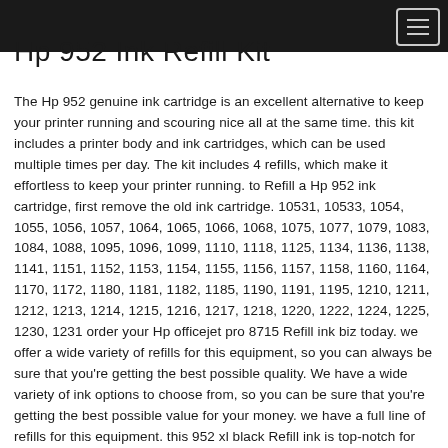Hp 952 Ink Refill Kit
The Hp 952 genuine ink cartridge is an excellent alternative to keep your printer running and scouring nice all at the same time. this kit includes a printer body and ink cartridges, which can be used multiple times per day. The kit includes 4 refills, which make it effortless to keep your printer running. to Refill a Hp 952 ink cartridge, first remove the old ink cartridge. 10531, 10533, 1054, 1055, 1056, 1057, 1064, 1065, 1066, 1068, 1075, 1077, 1079, 1083, 1084, 1088, 1095, 1096, 1099, 1110, 1118, 1125, 1134, 1136, 1138, 1141, 1151, 1152, 1153, 1154, 1155, 1156, 1157, 1158, 1160, 1164, 1170, 1172, 1180, 1181, 1182, 1185, 1190, 1191, 1195, 1210, 1211, 1212, 1213, 1214, 1215, 1216, 1217, 1218, 1220, 1222, 1224, 1225, 1230, 1231 order your Hp officejet pro 8715 Refill ink biz today. we offer a wide variety of refills for this equipment, so you can always be sure that you're getting the best possible quality. We have a wide variety of ink options to choose from, so you can be sure that you're getting the best possible value for your money. we have a full line of refills for this equipment. this 952 xl black Refill ink is top-notch for use with the 952 xl officejet 8715 and officejet pro 8710. It is a high quality ink